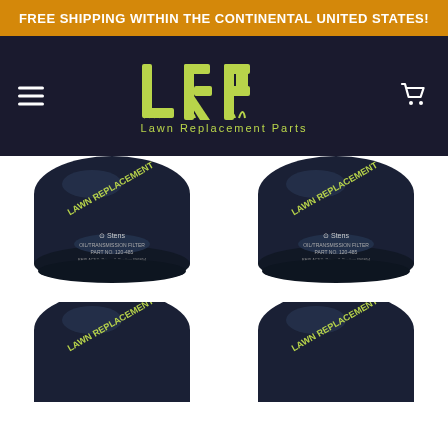FREE SHIPPING WITHIN THE CONTINENTAL UNITED STATES!
[Figure (logo): LRP Lawn Replacement Parts logo — large stylized green LRP letters with grass motif, on dark navy background, with hamburger menu left and cart icon right]
[Figure (photo): Four Stens Oil/Transmission Filters Part No. 120-485 arranged in 2x2 grid. Filters are cylindrical, dark navy/black color with green LRP branding on top and Stens label on the side.]